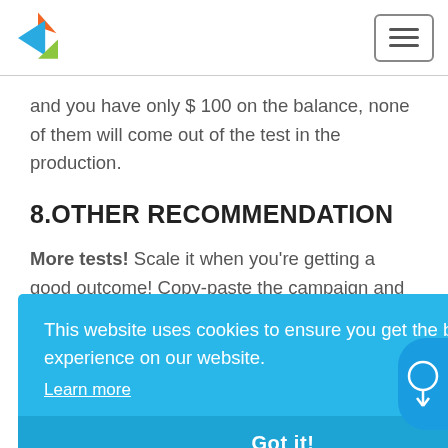[Figure (logo): Colorful bird/arrow logo (blue, orange, green) with navigation bar and hamburger menu button]
and you have only $ 100 on the balance, none of them will come out of the test in the production.
8.OTHER RECOMMENDATION
More tests! Scale it when you're getting a good outcome! Copy-paste the campaign and launch
This website uses cookies to ensure you get the best experience on our website.
Learn more
Got it!
Start a new test with a whitelist, use only